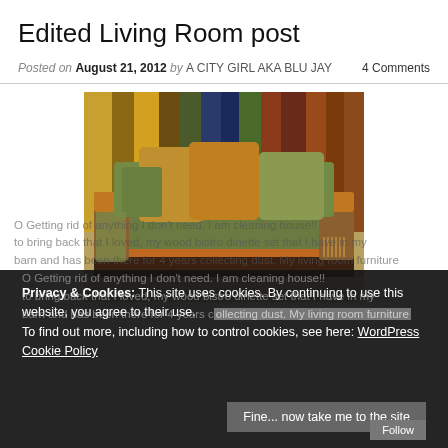Edited Living Room post
Posted on August 21, 2012 by A CITY GIRL AKA BLU JAY   4 Comments
[Figure (photo): Photo of an ornate green and gold sofa/daybed with decorative cushions and fringe trim, displayed in front of colorful draped fabrics]
Privacy & Cookies: This site uses cookies. By continuing to use this website, you agree to their use. To find out more, including how to control cookies, see here: WordPress Cookie Policy
Fine... now take me to the site